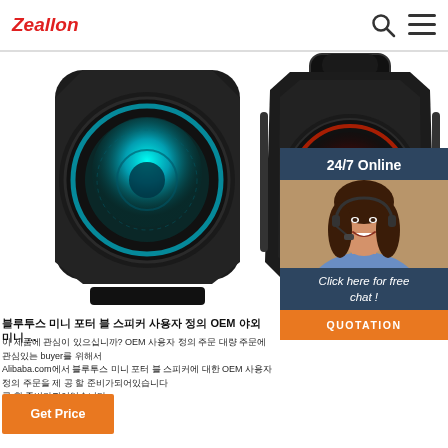Zeallon
[Figure (photo): Two black portable Bluetooth speakers with LED lighting displayed against white background. Left speaker has teal/cyan LED glow on front driver. Right speaker has red LED glow and a carrying handle.]
[Figure (infographic): 24/7 Online chat widget with dark navy background, showing a female customer service representative wearing a headset, with 'Click here for free chat!' text and orange QUOTATION button.]
블루투스 미니 포터 블 스피커 사용자 정의 OEM 야외 미니 ...
이 제품에 관심이 있으십니까? OEM 사용자 정의 주문 대량 주문에 관심있는 buyer를 위해서 Alibaba.com에서 블루투스 미니 포터 블 스피커에 대한 OEM 사용자 정의 주문을 제 공 할 준비가되어있습니다
Get Price